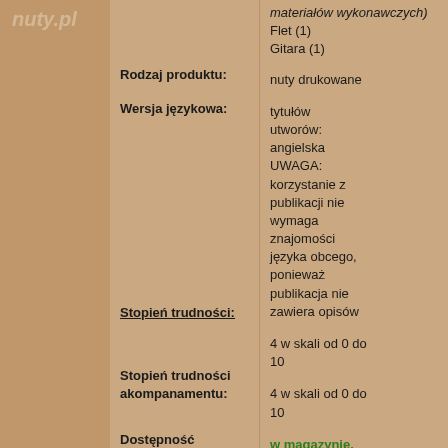nuty.pl
materiałów wykonawczych)
Flet (1)
Gitara (1)
| Właściwość | Wartość |
| --- | --- |
| Rodzaj produktu: | nuty drukowane |
| Wersja językowa: | tytułów utworów: angielska UWAGA: korzystanie z publikacji nie wymaga znajomości języka obcego, ponieważ publikacja nie zawiera opisów |
| Stopień trudności: | 4 w skali od 0 do 10 |
| Stopień trudności akompanamentu: | 4 w skali od 0 do 10 |
| Dostępność | w magazynie, wysyłka natychmiastowa |
| Zawartość: | Zajrzyj do środka. Oto kilka stron z |